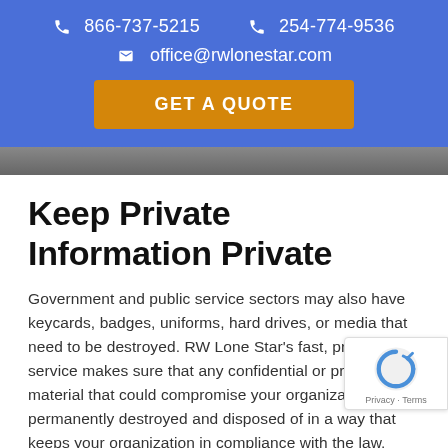866-737-5215   254-774-9536   office@rwlonestar.com
[Figure (other): GET A QUOTE button in orange on blue background]
[Figure (photo): Photo strip of a person, partially visible]
Keep Private Information Private
Government and public service sectors may also have keycards, badges, uniforms, hard drives, or media that need to be destroyed. RW Lone Star's fast, professional service makes sure that any confidential or proprietary material that could compromise your organization is permanently destroyed and disposed of in a way that keeps your organization in compliance with the law.
A government data breach can be catastrophic,